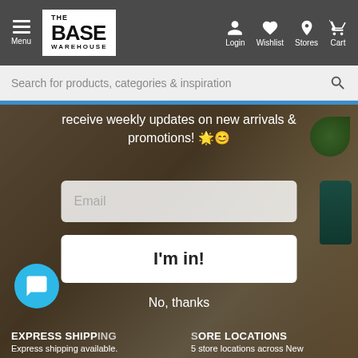Menu | THE BASE WAREHOUSE | Login | Wishlist | Stores | Cart
Search for products, categories & inspiration
receive weekly updates on new arrivals & promotions! 🌟😊
Email
I'm in!
No, thanks
EXPRESS SHIPPING
Express shipping available.
STORE LOCATIONS
5 store locations across New South Wales